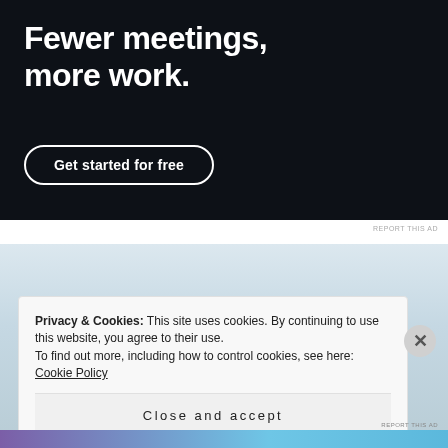[Figure (illustration): Dark navy advertisement banner with white bold text reading 'Fewer meetings, more work.' and a 'Get started for free' button with a rounded border outline.]
REPORT THIS AD
[Figure (photo): Light blue and grey sky/landscape background area, partially obscured.]
Privacy & Cookies: This site uses cookies. By continuing to use this website, you agree to their use.
To find out more, including how to control cookies, see here: Cookie Policy
Close and accept
REPORT THIS AD